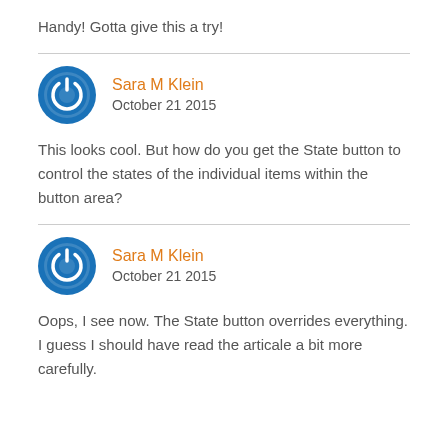Handy! Gotta give this a try!
Sara M Klein
October 21 2015
This looks cool. But how do you get the State button to control the states of the individual items within the button area?
Sara M Klein
October 21 2015
Oops, I see now. The State button overrides everything. I guess I should have read the articale a bit more carefully.